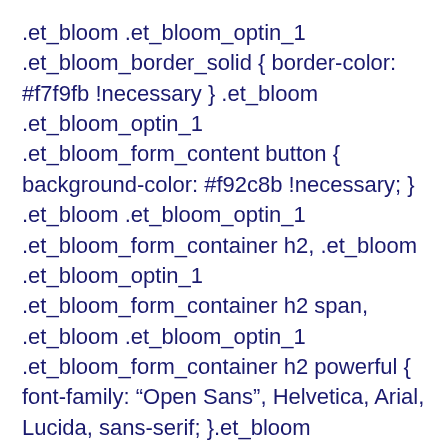.et_bloom .et_bloom_optin_1 .et_bloom_border_solid { border-color: #f7f9fb !necessary } .et_bloom .et_bloom_optin_1 .et_bloom_form_content button { background-color: #f92c8b !necessary; } .et_bloom .et_bloom_optin_1 .et_bloom_form_container h2, .et_bloom .et_bloom_optin_1 .et_bloom_form_container h2 span, .et_bloom .et_bloom_optin_1 .et_bloom_form_container h2 powerful { font-family: “Open Sans”, Helvetica, Arial, Lucida, sans-serif; }.et_bloom .et_bloom_optin_1 .et_bloom_form_container p, .et_bloom